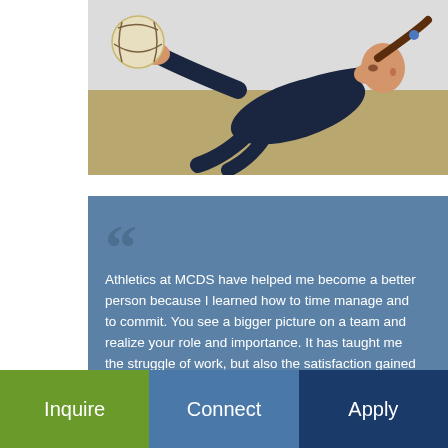[Figure (photo): A female volleyball player in a dark navy long-sleeve shirt and blue hair tie, diving/reaching forward with both hands to hit a volleyball. Action shot in a gymnasium.]
Athletics at MCDS have helped me become a better person because I learned how to time manage and to commit. You see a bigger picture on a team and realize your role and importance. It has taught me the struggle of work, but also the satisfaction gained from accomplishment.
Inquire
Connect
Apply